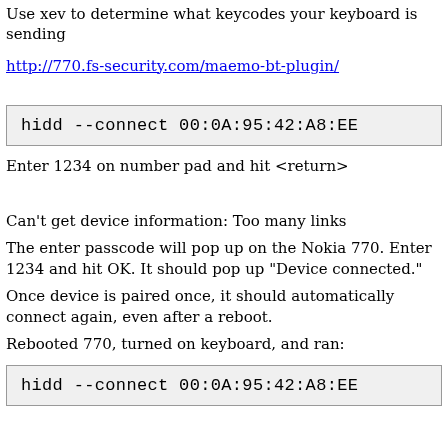Use xev to determine what keycodes your keyboard is sending
http://770.fs-security.com/maemo-bt-plugin/
hidd --connect 00:0A:95:42:A8:EE
Enter 1234 on number pad and hit <return>
Can't get device information: Too many links
The enter passcode will pop up on the Nokia 770. Enter 1234 and hit OK. It should pop up "Device connected."
Once device is paired once, it should automatically connect again, even after a reboot.
Rebooted 770, turned on keyboard, and ran:
hidd --connect 00:0A:95:42:A8:EE